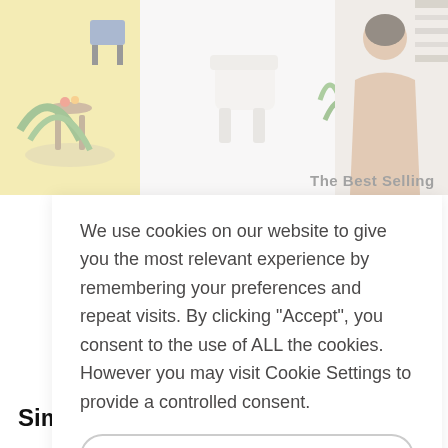[Figure (screenshot): Background website with product images at top: left panel shows furniture on yellow background, middle shows white chair/table, right shows woman from behind]
The Best Selling
We use cookies on our website to give you the most relevant experience by remembering your preferences and repeat visits. By clicking “Accept”, you consent to the use of ALL the cookies. However you may visit Cookie Settings to provide a controlled consent.
COOKIE SETTINGS
ACCEPT
Similar